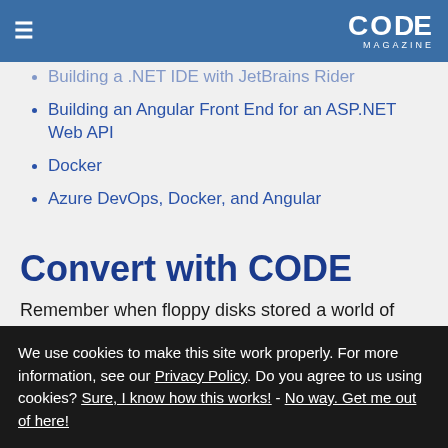CODE MAGAZINE
Building a .NET IDE with JetBrains Rider
Building an Angular Front End for an ASP.NET Web API
Docker
Azure DevOps, Docker, and Angular
Convert with CODE
Remember when floppy disks stored a world of information? Remember when Visual FoxPro
We use cookies to make this site work properly. For more information, see our Privacy Policy. Do you agree to us using cookies? Sure, I know how this works! - No way. Get me out of here!